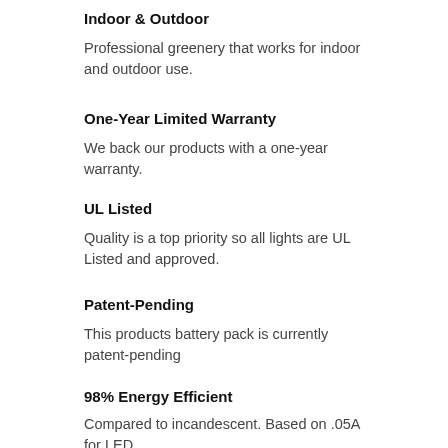Indoor & Outdoor
Professional greenery that works for indoor and outdoor use.
One-Year Limited Warranty
We back our products with a one-year warranty.
UL Listed
Quality is a top priority so all lights are UL Listed and approved.
Patent-Pending
This products battery pack is currently patent-pending
98% Energy Efficient
Compared to incandescent. Based on .05A for LED